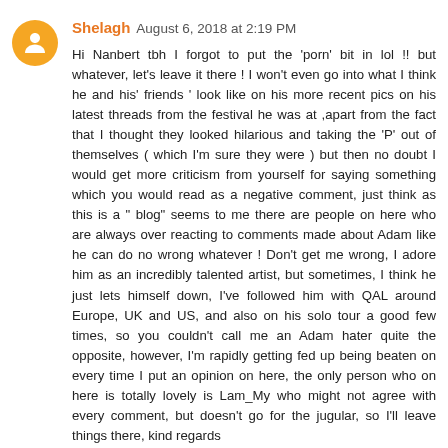Shelagh August 6, 2018 at 2:19 PM
Hi Nanbert tbh I forgot to put the 'porn' bit in lol !! but whatever, let's leave it there ! I won't even go into what I think he and his' friends ' look like on his more recent pics on his latest threads from the festival he was at ,apart from the fact that I thought they looked hilarious and taking the 'P' out of themselves ( which I'm sure they were ) but then no doubt I would get more criticism from yourself for saying something which you would read as a negative comment, just think as this is a " blog" seems to me there are people on here who are always over reacting to comments made about Adam like he can do no wrong whatever ! Don't get me wrong, I adore him as an incredibly talented artist, but sometimes, I think he just lets himself down, I've followed him with QAL around Europe, UK and US, and also on his solo tour a good few times, so you couldn't call me an Adam hater quite the opposite, however, I'm rapidly getting fed up being beaten on every time I put an opinion on here, the only person who on here is totally lovely is Lam_My who might not agree with every comment, but doesn't go for the jugular, so I'll leave things there, kind regards